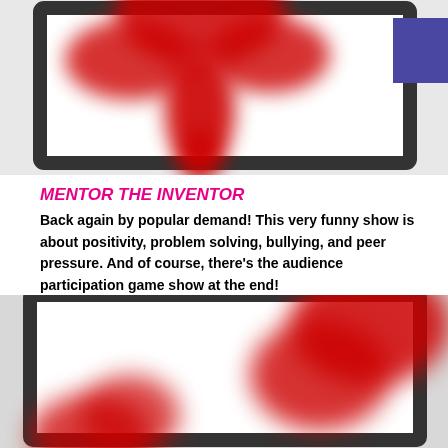[Figure (photo): Blurred image showing red paint or graphic design element on a dark-framed white background, viewed from above. A purple rectangle decorates the top-right corner.]
MENTOR THE INVENTOR
Back again by popular demand! This very funny show is about positivity, problem solving, bullying, and peer pressure. And of course, there's the audience participation game show at the end!
[Figure (photo): Blurred partial image showing red graphic elements on a dark-framed white background, cropped at bottom of page.]